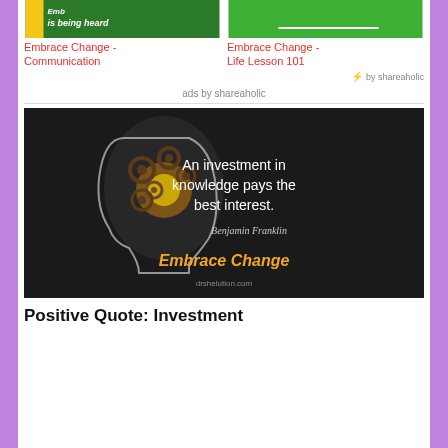[Figure (screenshot): Thumbnail image for 'Embrace Change - Communication' with green background and text 'is being heard']
[Figure (screenshot): Thumbnail image for 'Embrace Change - Life Lesson 101' with green background]
Embrace Change - Communication
Embrace Change - Life Lesson 101
⚡ by shareaholic
ads by shareaholic
[Figure (photo): Dark image with glowing gears inside a human head silhouette, white text 'An investment in knowledge pays the best interest. Benjamin Franklin', yellow text 'Embrace Change', and small text 'drshelution.com']
Positive Quote: Investment